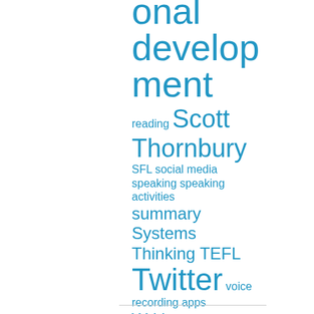[Figure (other): Tag cloud in blue text showing: onal develop ment reading Scott Thornbury SFL social media speaking speaking activities summary Systems Thinking TEFL Twitter voice recording apps Writing]